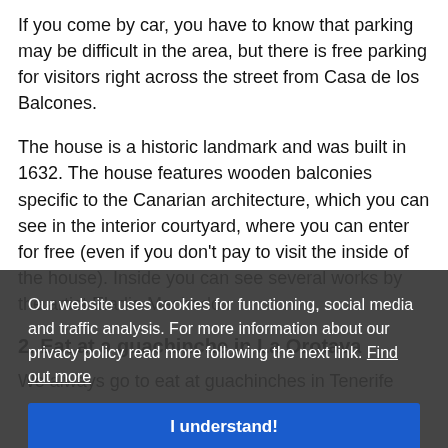If you come by car, you have to know that parking may be difficult in the area, but there is free parking for visitors right across the street from Casa de los Balcones.
The house is a historic landmark and was built in 1632. The house features wooden balconies specific to the Canarian architecture, which you can see in the interior courtyard, where you can enter for free (even if you don't pay to visit the inside of the house). Inside you can see several works by the artist Eladia Machado.
2. Eat at a guachinche in La Orotava
We always go to eat at guachinches in Tenerife
Our website uses cookies for functioning, social media and traffic analysis. For more information about our privacy policy read more following the next link. Find out more